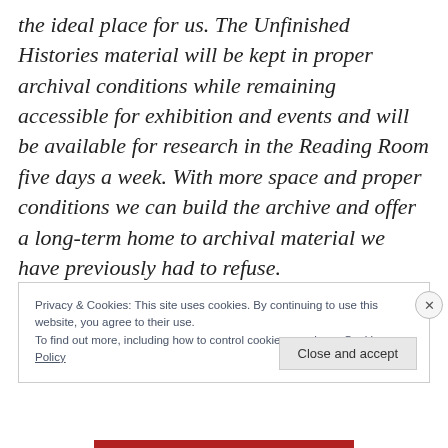the ideal place for us. The Unfinished Histories material will be kept in proper archival conditions while remaining accessible for exhibition and events and will be available for research in the Reading Room five days a week. With more space and proper conditions we can build the archive and offer a long-term home to archival material we have previously had to refuse.
Privacy & Cookies: This site uses cookies. By continuing to use this website, you agree to their use. To find out more, including how to control cookies, see here: Cookie Policy